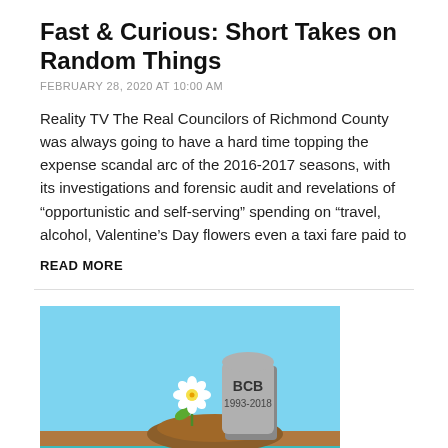Fast & Curious: Short Takes on Random Things
FEBRUARY 28, 2020 AT 10:00 AM
Reality TV The Real Councilors of Richmond County was always going to have a hard time topping the expense scandal arc of the 2016-2017 seasons, with its investigations and forensic audit and revelations of “opportunistic and self-serving” spending on “travel, alcohol, Valentine’s Day flowers even a taxi fare paid to
READ MORE
[Figure (illustration): Cartoon illustration of a gravestone labeled BCB 1993-2018 with a daisy flower growing in front of it on a mound of dirt, with a blue sky background and a teal/blue strip at the bottom.]
Parsing the Business Cape Breton Post-